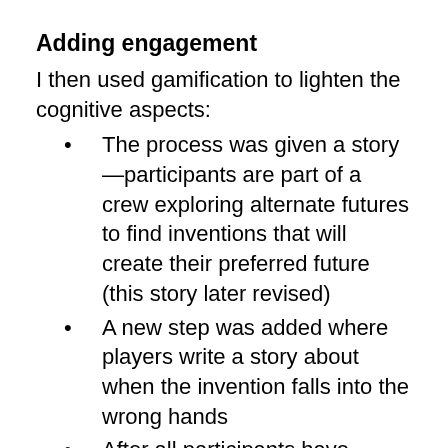Adding engagement
I then used gamification to lighten the cognitive aspects:
The process was given a story—participants are part of a crew exploring alternate futures to find inventions that will create their preferred future (this story later revised)
A new step was added where players write a story about when the invention falls into the wrong hands
After all participants have designed their inventions, they vote on which one best aligns with the Key Value
1st Testing